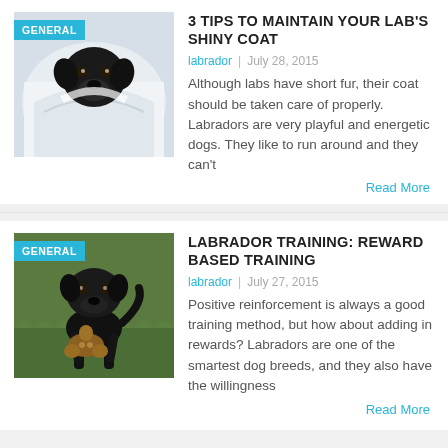[Figure (photo): Black Labrador puppy wrapped in white towel, looking at camera. Badge reads GENERAL.]
3 TIPS TO MAINTAIN YOUR LAB'S SHINY COAT
labrador  |  July 28, 2015
Although labs have short fur, their coat should be taken care of properly. Labradors are very playful and energetic dogs. They like to run around and they can't
Read More
[Figure (photo): Black Labrador puppy standing on grass holding a stuffed toy animal in its mouth. Badge reads GENERAL.]
LABRADOR TRAINING: REWARD BASED TRAINING
labrador  |  July 27, 2015
Positive reinforcement is always a good training method, but how about adding in rewards? Labradors are one of the smartest dog breeds, and they also have the willingness
Read More